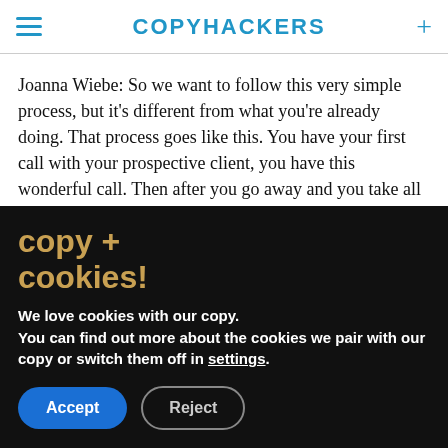COPYHACKERS
Joanna Wiebe: So we want to follow this very simple process, but it's different from what you're already doing. That process goes like this. You have your first call with your prospective client, you have this wonderful call. Then after you go away and you take all of the information they gave you, then you go off and you start drafting your proposal but you
copy + cookies!
We love cookies with our copy. You can find out more about the cookies we pair with our copy or switch them off in settings.
Accept
Reject